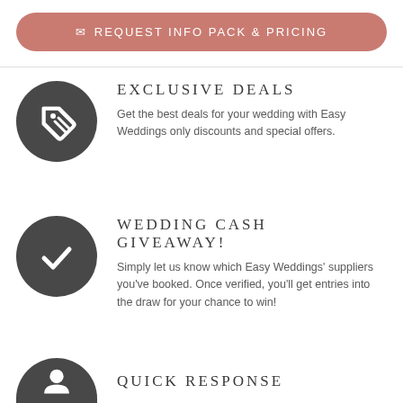[Figure (other): Pink/salmon rounded button with envelope icon and text 'REQUEST INFO PACK & PRICING']
EXCLUSIVE DEALS
Get the best deals for your wedding with Easy Weddings only discounts and special offers.
WEDDING CASH GIVEAWAY!
Simply let us know which Easy Weddings' suppliers you've booked. Once verified, you'll get entries into the draw for your chance to win!
QUICK RESPONSE